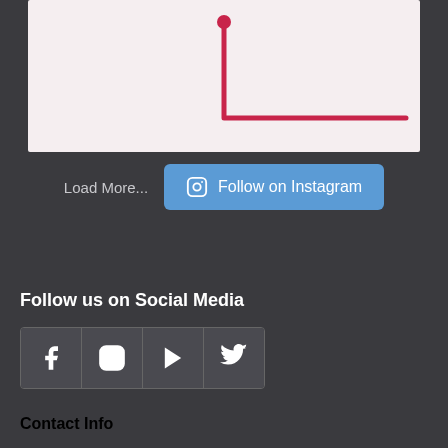[Figure (other): Partial view of a chart or diagram with a red L-shaped line on a light pink/white background, cropped at top]
Load More...
Follow on Instagram
Follow us on Social Media
[Figure (infographic): Four social media icon boxes in a row: Facebook, Instagram, YouTube, Twitter]
Contact Info